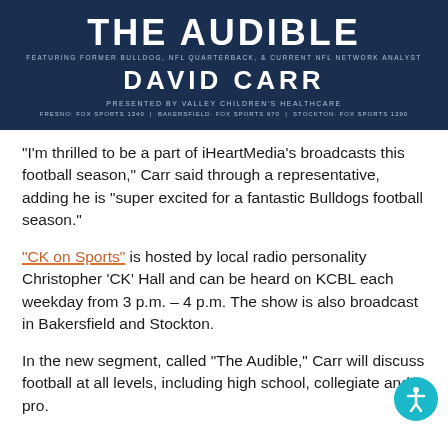[Figure (logo): The Audible banner featuring David Carr, presented by Valley Children's Healthcare. Dark navy background with white text. Shows radio station info: Fresno FOX Sports 1340, Bakersfield FOX Sports 970, Stockton FOX Sports 1290.]
“I’m thrilled to be a part of iHeartMedia’s broadcasts this football season,” Carr said through a representative, adding he is “super excited for a fantastic Bulldogs football season.”
“CK on Sports” is hosted by local radio personality Christopher ‘CK’ Hall and can be heard on KCBL each weekday from 3 p.m. – 4 p.m. The show is also broadcast in Bakersfield and Stockton.
In the new segment, called “The Audible,” Carr will discuss football at all levels, including high school, collegiate and pro.